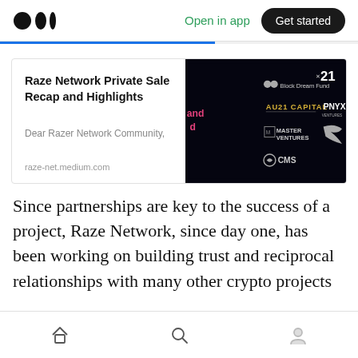Medium logo | Open in app | Get started
Raze Network Private Sale Recap and Highlights
Dear Razer Network Community,
raze-net.medium.com
[Figure (screenshot): Dark background image showing investor logos: Block Dream Fund, x21, AU21 Capital, PNYX, Master Ventures, Prowl, CMS]
Since partnerships are key to the success of a project, Raze Network, since day one, has been working on building trust and reciprocal relationships with many other crypto projects
Home | Search | Profile